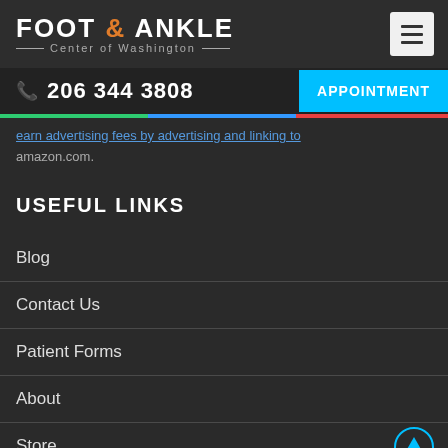FOOT & ANKLE Center of Washington
📞 206 344 3808
APPOINTMENT
earn advertising fees by advertising and linking to amazon.com.
USEFUL LINKS
Blog
Contact Us
Patient Forms
About
Store